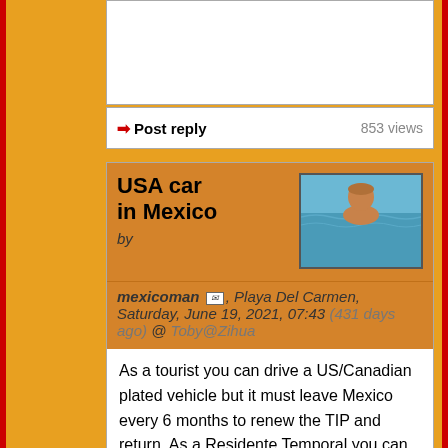(reply text box — empty)
➡ Post reply   853 views
USA car in Mexico
by
[Figure (photo): Man swimming in ocean/sea water]
mexicoman ✉, Playa Del Carmen, Saturday, June 19, 2021, 07:43 (431 days ago) @ Toby@Zihua
As a tourist you can drive a US/Canadian plated vehicle but it must leave Mexico every 6 months to renew the TIP and return. As a Residente Temporal you can drive the same vehicle for the length of